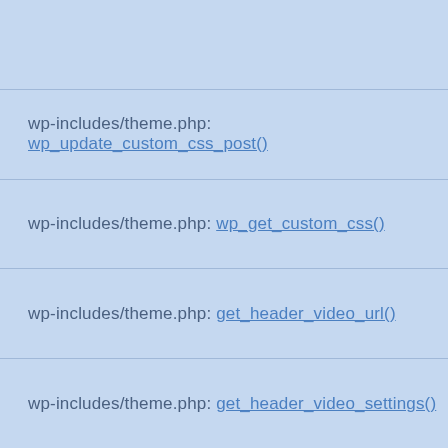wp-includes/theme.php: wp_update_custom_css_post()
wp-includes/theme.php: wp_get_custom_css()
wp-includes/theme.php: get_header_video_url()
wp-includes/theme.php: get_header_video_settings()